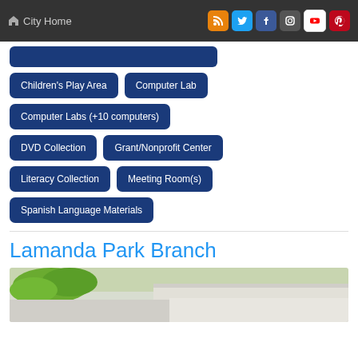City Home
Children's Play Area
Computer Lab
Computer Labs (+10 computers)
DVD Collection
Grant/Nonprofit Center
Literacy Collection
Meeting Room(s)
Spanish Language Materials
Lamanda Park Branch
[Figure (photo): Exterior photo of Lamanda Park Branch library building with a large tree in the foreground]